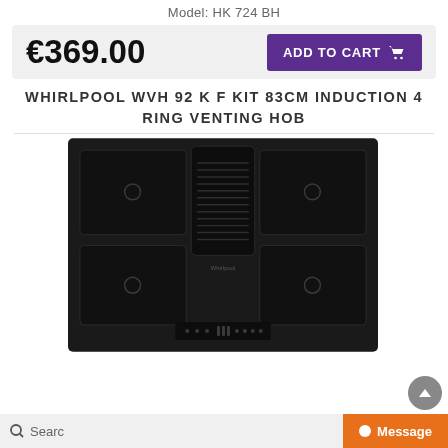Model: HK 724 BH
€369.00
ADD TO CART
WHIRLPOOL WVH 92 K F KIT 83CM INDUCTION 4 RING VENTING HOB
[Figure (photo): Whirlpool 83cm induction 4-ring venting hob (model WVH 92 K F KIT) on black glass surface with central ventilation grille and touch controls at the bottom, four induction cooking zones, Whirlpool branding visible]
Search
Message